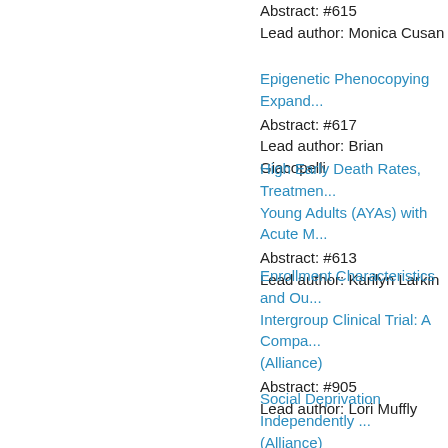Abstract: #615
Lead author: Monica Cusan
Epigenetic Phenocopying Expand...
Abstract: #617
Lead author: Brian Giacopelli
High Early Death Rates, Treatmen... Young Adults (AYAs) with Acute M...
Abstract: #613
Lead author: Karilyn Larkin
Enrollment Characteristics and Ou... Intergroup Clinical Trial: A Compa... (Alliance)
Abstract: #905
Lead author: Lori Muffly
Social Deprivation Independently ... (Alliance)
Abstract: #906
Lead author: Melanie T Rebechi
Long-Term Results of Alliance A04... Compared with Bendamustine Ph...